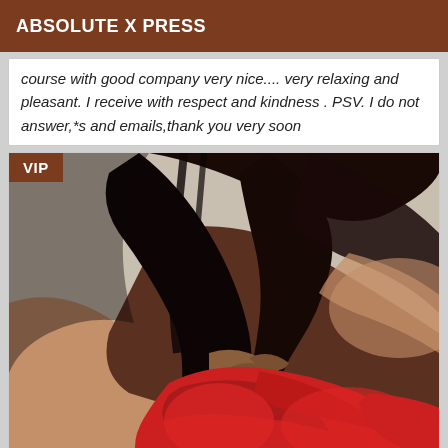ABSOLUTE X PRESS
course with good company very nice.... very relaxing and pleasant. I receive with respect and kindness . PSV. I do not answer,*s and emails,thank you very soon
[Figure (photo): Woman in red lace lingerie, dark hair, partially covering face, artistic pose against light background. VIP badge overlay in top-left corner.]